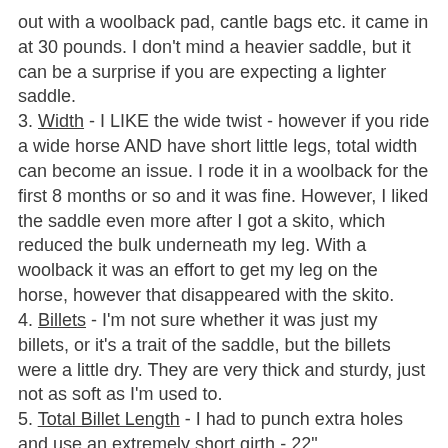out with a woolback pad, cantle bags etc. it came in at 30 pounds. I don't mind a heavier saddle, but it can be a surprise if you are expecting a lighter saddle.
3. Width - I LIKE the wide twist - however if you ride a wide horse AND have short little legs, total width can become an issue. I rode it in a woolback for the first 8 months or so and it was fine. However, I liked the saddle even more after I got a skito, which reduced the bulk underneath my leg. With a woolback it was an effort to get my leg on the horse, however that disappeared with the skito.
4. Billets - I'm not sure whether it was just my billets, or it's a trait of the saddle, but the billets were a little dry. They are very thick and sturdy, just not as soft as I'm used to.
5. Total Billet Length - I had to punch extra holes and use an extremely short girth - 22".
6. Wither Clearance - This is the only reason I'm selling the saddle. Everything else was inconsequential or manageable - this was not. Farley has moderate to high withers. This saddle has a lower than average wither clearance (which they state on their site), which was adequate for almost a year. Unfortunately her back only had to change a little before there the potential for wither pressure was more than